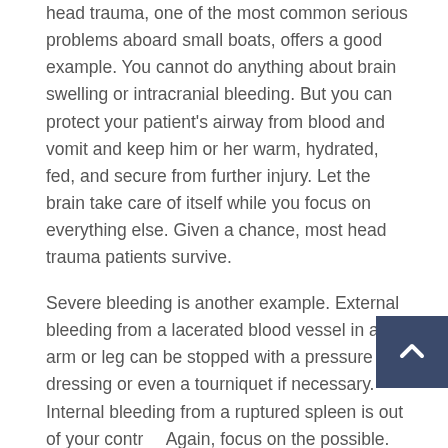head trauma, one of the most common serious problems aboard small boats, offers a good example. You cannot do anything about brain swelling or intracranial bleeding. But you can protect your patient's airway from blood and vomit and keep him or her warm, hydrated, fed, and secure from further injury. Let the brain take care of itself while you focus on everything else. Given a chance, most head trauma patients survive.
Severe bleeding is another example. External bleeding from a lacerated blood vessel in an arm or leg can be stopped with a pressure dressing or even a tourniquet if necessary. Internal bleeding from a ruptured spleen is out of your control. Again, focus on the possible. Keep your patient hydrated, fed, protected and warm and he or she,